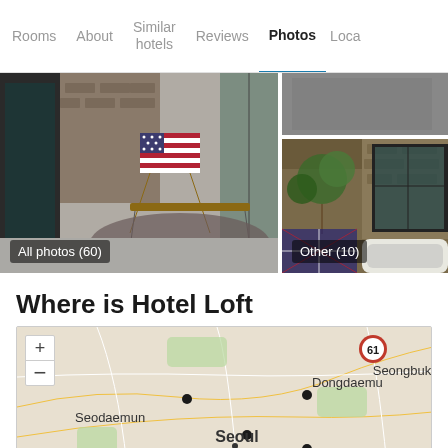Rooms | About | Similar hotels | Reviews | Photos | Loca...
[Figure (photo): Hotel room interior with American flag draped over a wooden folding chair, a wooden coffee table on a circular rug, and glass doors. Label: All photos (60)]
[Figure (photo): Hotel interior with plants, exposed brick wall, large black-framed windows, and a bathtub. Label: Other (10)]
Where is Hotel Loft
[Figure (map): Map of Seoul, South Korea showing districts: Mapo, Seodaemun, Seoul, Seongbuk, Dongdaemu. Map has zoom in (+) and zoom out (-) controls. Various location dots and route 61 highway marker visible.]